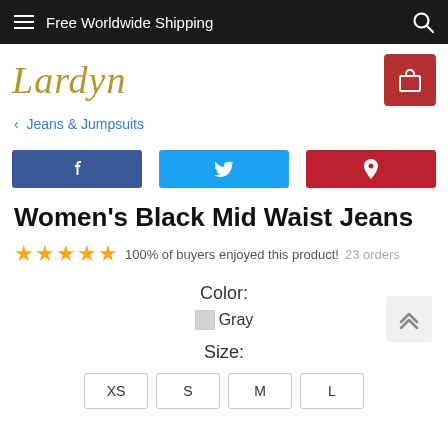Free Worldwide Shipping
[Figure (logo): Lardyn brand logo in gold italic script]
< Jeans & Jumpsuits
[Figure (infographic): Social sharing buttons: Facebook, Twitter, Pinterest]
Women's Black Mid Waist Jeans
★★★★★ 100% of buyers enjoyed this product! 23 orders
Color:
Gray
Size:
XS S M L